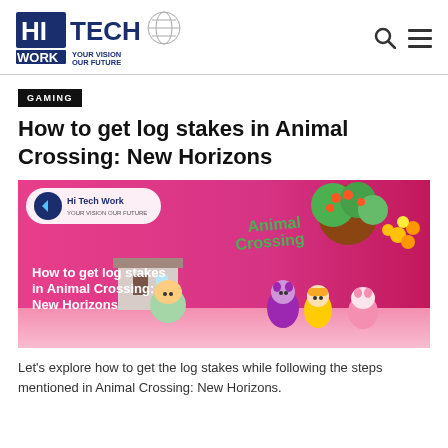HiTech Work — YOUR VISION OUR FUTURE
GAMING
How to get log stakes in Animal Crossing: New Horizons
[Figure (illustration): Promotional banner for Animal Crossing: New Horizons article on HiTech Work. Pink/magenta background with Animal Crossing characters and logo. Text overlay reads: How to get log stakes in Animal Crossing: New Horizons. Hi Tech Work logo in top-left corner.]
Let's explore how to get the log stakes while following the steps mentioned in Animal Crossing: New Horizons.